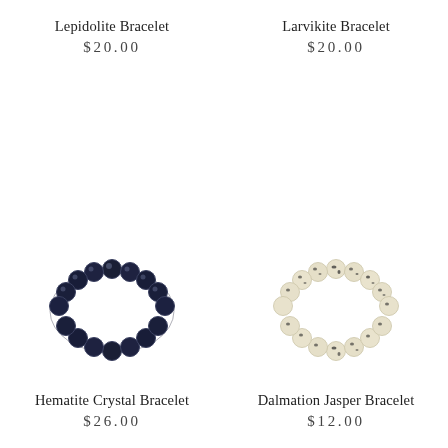Lepidolite Bracelet
$20.00
[Figure (photo): Lepidolite bead bracelet (top-left, image not visible in this section)]
Larvikite Bracelet
$20.00
[Figure (photo): Larvikite bead bracelet (top-right, image not visible in this section)]
[Figure (photo): Hematite Crystal Bracelet — dark navy/black metallic round beads arranged in a circle]
Hematite Crystal Bracelet
$26.00
[Figure (photo): Dalmation Jasper Bracelet — cream/beige beads with black spots arranged in a circle]
Dalmation Jasper Bracelet
$12.00